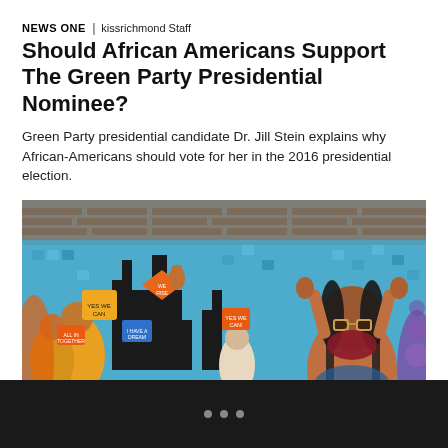NEWS ONE | kissrichmond Staff
Should African Americans Support The Green Party Presidential Nominee?
Green Party presidential candidate Dr. Jill Stein explains why African-Americans should vote for her in the 2016 presidential election.
[Figure (photo): A colorful community mural painted on the side of a brick building, depicting diverse figures holding protest signs with raised fists, set against a bright blue mosaic background. A woman with braided hair and glasses appears prominently on the right side.]